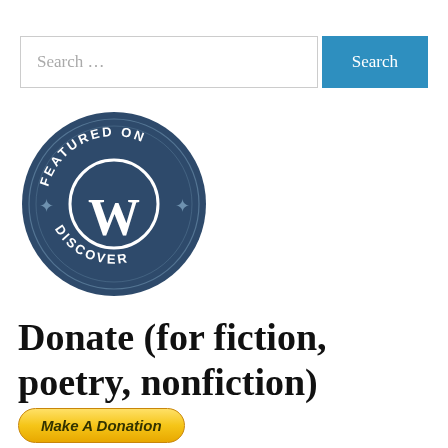[Figure (logo): Search bar with text input field showing placeholder 'Search ...' and a teal 'Search' button]
[Figure (logo): WordPress 'Featured on Discover' badge — dark navy circular badge with 'FEATURED ON' text arched at top, WordPress 'W' logo in center circle, 'DISCOVER' text arched at bottom, decorative stars on sides]
Donate (for fiction, poetry, nonfiction)
[Figure (other): PayPal 'Make A Donation' button — rounded gold/yellow gradient button with italic bold text]